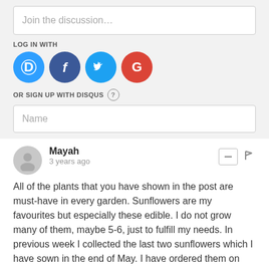Join the discussion…
LOG IN WITH
[Figure (illustration): Social login icons: Disqus (blue circle with D), Facebook (dark blue circle with f), Twitter (light blue circle with bird), Google (red circle with G)]
OR SIGN UP WITH DISQUS ?
Name
Mayah
3 years ago
All of the plants that you have shown in the post are must-have in every garden. Sunflowers are my favourites but especially these edible. I do not grow many of them, maybe 5-6, just to fulfill my needs. In previous week I collected the last two sunflowers which I have sown in the end of May. I have ordered them on https://gardenseedsmarket.c... because the price attracted me and... I didn't get disappointed. I also have to confess that I have never eaten nasturtium. I know that it is quite an edible flower but I have to experience myself to d...